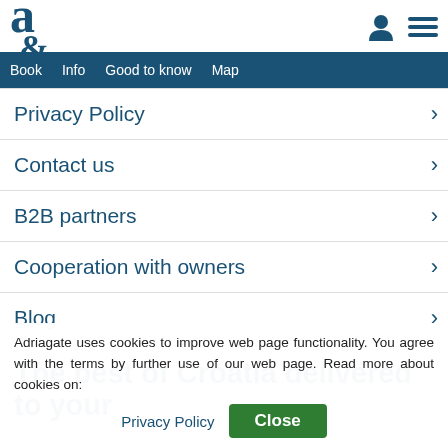a [logo] | [user icon] [menu icon]
Book | Info | Good to know | Map
Privacy Policy
Contact us
B2B partners
Cooperation with owners
Blog
The best of Croatia delivered to your inbox
Adriagate uses cookies to improve web page functionality. You agree with the terms by further use of our web page. Read more about cookies on:
Privacy Policy | Close